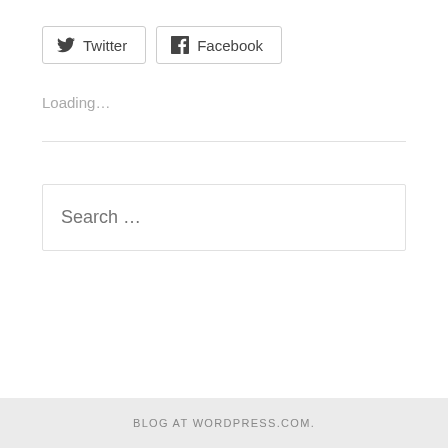[Figure (other): Social share buttons: Twitter and Facebook]
Loading…
Search …
BLOG AT WORDPRESS.COM.